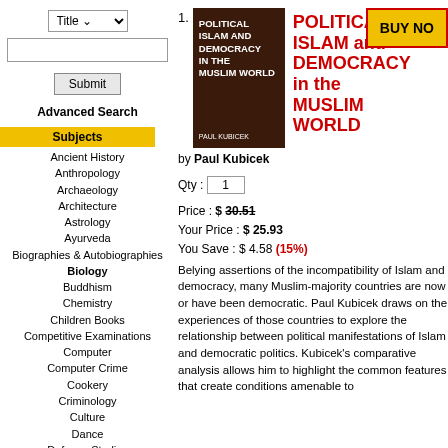Title [dropdown]
Submit
Advanced Search
Subjects
Ancient History
Anthropology
Archaeology
Architecture
Astrology
Ayurveda
Biographies & Autobiographies
Biology
Buddhism
Chemistry
Children Books
Competitive Examinations
Computer
Computer Crime
Cookery
Criminology
Culture
Dance
Defence Studies
Development Studies
Dictionaries & Encyclopedias
Drug & Narcotic Studies
Earth Sciences
Ecology
Economics & Commerce
Education
Engineering
Environmental Studies
POLITICAL ISLAM and DEMOCRACY in the MUSLIM WORLD
by Paul Kubicek
Qty : 1
Price : $ 30.51
Your Price : $ 25.93
You Save : $ 4.58 (15%)
Belying assertions of the incompatibility of Islam and democracy, many Muslim-majority countries are now or have been democratic. Paul Kubicek draws on the experiences of those countries to explore the relationship between political manifestations of Islam and democratic politics. Kubicek's comparative analysis allows him to highlight the common features that create conditions amenable to